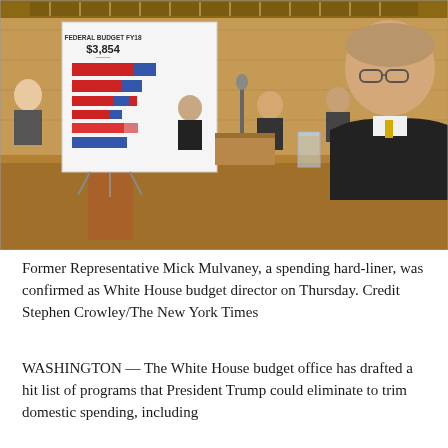[Figure (photo): Photograph of former Representative Mick Mulvaney seated at a hearing table, looking at a poster board showing a stacked bar chart labeled 'Federal Budget FY18 $3,854'. The hearing room has a wood-paneled background with other figures seated in the background. A microphone and glass of water are on the table.]
Former Representative Mick Mulvaney, a spending hard-liner, was confirmed as White House budget director on Thursday. Credit Stephen Crowley/The New York Times
WASHINGTON — The White House budget office has drafted a hit list of programs that President Trump could eliminate to trim domestic spending, including